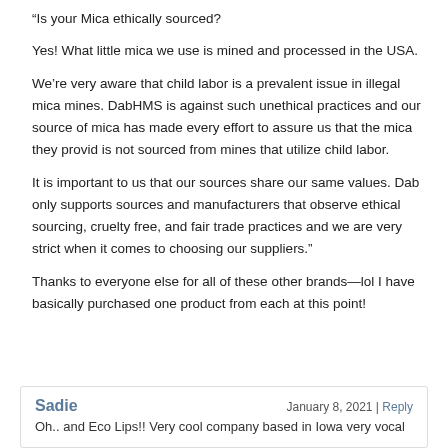“Is your Mica ethically sourced?
Yes! What little mica we use is mined and processed in the USA.
We’re very aware that child labor is a prevalent issue in illegal mica mines. DabHMS is against such unethical practices and our source of mica has made every effort to assure us that the mica they provid is not sourced from mines that utilize child labor.
It is important to us that our sources share our same values. Dab only supports sources and manufacturers that observe ethical sourcing, cruelty free, and fair trade practices and we are very strict when it comes to choosing our suppliers."
Thanks to everyone else for all of these other brands—lol I have basically purchased one product from each at this point!
Sadie
January 8, 2021 | Reply
Oh.. and Eco Lips!! Very cool company based in Iowa very vocal